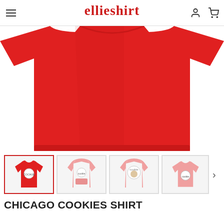ellieshirt
[Figure (photo): Close-up of a red t-shirt, showing the body and bottom hem of the shirt against a white background.]
[Figure (photo): Thumbnail row showing four product images: 1) red t-shirt with cookie monster logo, 2) pink hoodie front view, 3) pink hoodie back view with logo, 4) pink t-shirt with cookie logo. Arrow chevron on the right.]
CHICAGO COOKIES SHIRT